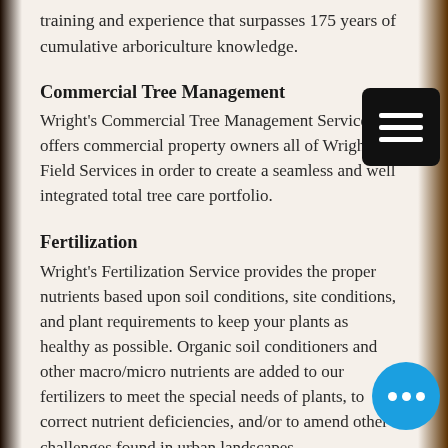training and experience that surpasses 175 years of cumulative arboriculture knowledge.
Commercial Tree Management
Wright's Commercial Tree Management Service offers commercial property owners all of Wright's Field Services in order to create a seamless and well integrated total tree care portfolio.
Fertilization
Wright's Fertilization Service provides the proper nutrients based upon soil conditions, site conditions, and plant requirements to keep your plants as healthy as possible. Organic soil conditioners and other macro/micro nutrients are added to our fertilizers to meet the special needs of plants, to correct nutrient deficiencies, and/or to amend other challenges found in urban landscapes.